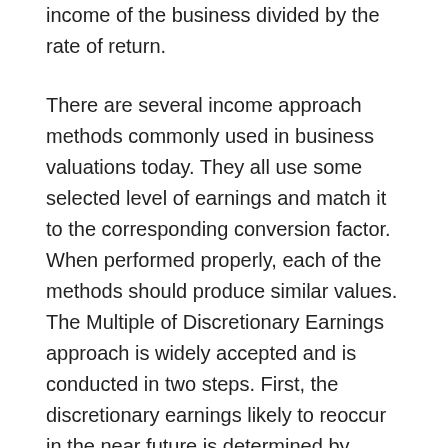income of the business divided by the rate of return.
There are several income approach methods commonly used in business valuations today. They all use some selected level of earnings and match it to the corresponding conversion factor. When performed properly, each of the methods should produce similar values. The Multiple of Discretionary Earnings approach is widely accepted and is conducted in two steps. First, the discretionary earnings likely to reoccur in the near future is determined by either averaging the last several years or using only the last year, if the most recent year better reflects the projected earnings of